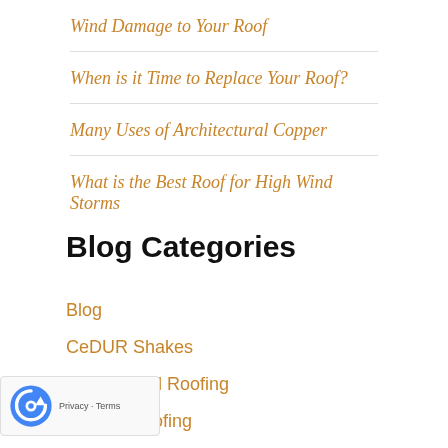Wind Damage to Your Roof
When is it Time to Replace Your Roof?
Many Uses of Architectural Copper
What is the Best Roof for High Wind Storms
Blog Categories
Blog
CeDUR Shakes
Commercial Roofing
Copper Roofing
Gutters
…A Roofer
…Roofing
Prestige Roofing